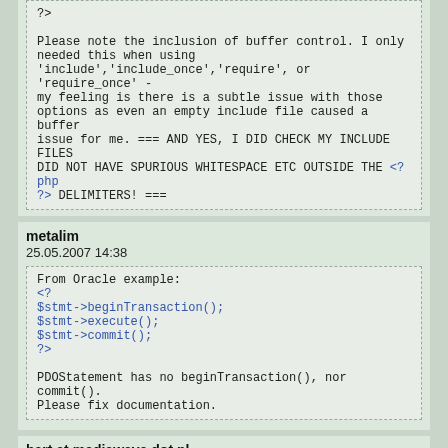?>
Please note the inclusion of buffer control. I only needed this when using 'include','include_once','require', or 'require_once' - my feeling is there is a subtle issue with those options as even an empty include file caused a buffer issue for me. === AND YES, I DID CHECK MY INCLUDE FILES DID NOT HAVE SPURIOUS WHITESPACE ETC OUTSIDE THE <?php ?> DELIMITERS! ===
metalim
25.05.2007 14:38
From Oracle example:
<?
$stmt->beginTransaction();
$stmt->execute();
$stmt->commit();
?>
PDOStatement has no beginTransaction(), nor commit().
Please fix documentation.
bart at mediawave dot nl
23.05.2007 16:57
It seems MySQL doesn't support scrollable cursors. So unfortunately PDO::CURSOR_SCROLL wont work.
chad 0x40 herballure 0x2e com
17.04.2007 15:46